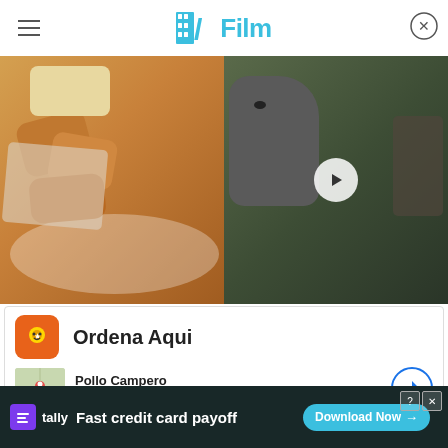/Film
[Figure (photo): Split image: left side shows fried chicken tenders on a plate with bread; right side shows a dinosaur-like creature with a play button overlay and a person in the background]
[Figure (infographic): Google ad card for Pollo Campero restaurant: orange icon, 'Ordena Aqui' heading, map thumbnail, Herndon 10AM-10PM, navigation button]
Coincidentally enough, since the novel takes place in 1977, maybe Chief Hopper will take a trip to the theater to watch Star Wars. Maybe a big chunk of the novel will just be a short novelization of Star Wars a... undly
[Figure (screenshot): Tally app banner ad: dark background, Tally logo, 'Fast credit card payoff' text, 'Download Now' button, close buttons in top right]